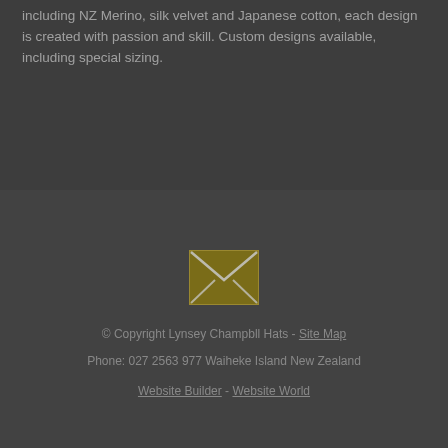including NZ Merino, silk velvet and Japanese cotton, each design is created with passion and skill. Custom designs available, including special sizing.
[Figure (illustration): Email/envelope icon — a golden/olive colored rectangle with envelope symbol in white]
© Copyright Lynsey Champbll Hats - Site Map
Phone: 027 2563 977 Waiheke Island New Zealand
Website Builder - Website World